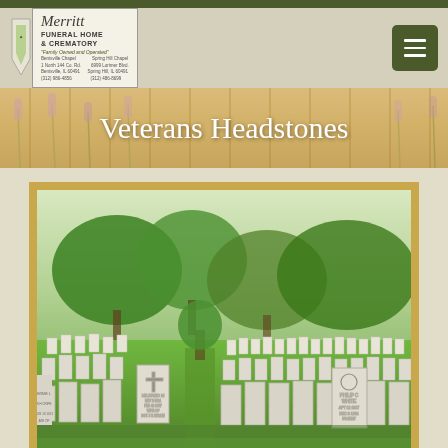Merritt Funeral Home & Crematory - navigation bar
[Figure (logo): Merritt Funeral Home & Crematory logo with shield emblem, address details for Bentsville Chapel and Spring Hill Chapel, tagline 'Family Owned and Operated']
Veterans Headstones
[Figure (photo): Aerial view of a military cemetery with rows of white headstones on green grass, trees in background, close-up view of individual headstones including one reading 'MILDRED M' with a cross, and another reading 'PHILIP C WHITE']